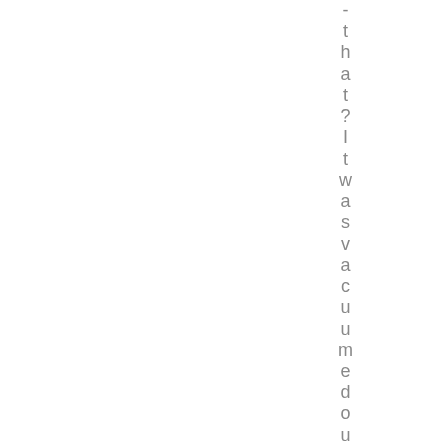-that? It was vacuumed out backi